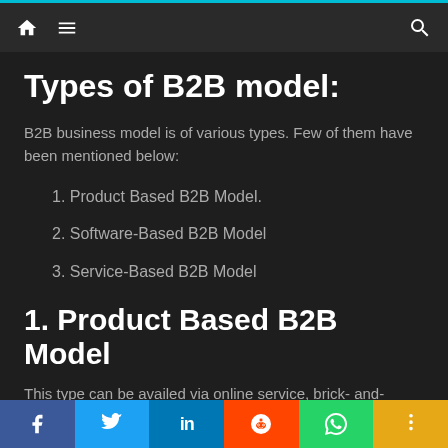Navigation bar with home, menu, and search icons
Types of B2B model:
B2B business model is of various types. Few of them have been mentioned below:
1. Product Based B2B Model.
2. Software-Based B2B Model
3. Service-Based B2B Model
1. Product Based B2B Model
This type can be availed via online service, brick- and-mortar or it might include both. It basically concentrates on
f  Twitter  in  Reddit  WhatsApp  +